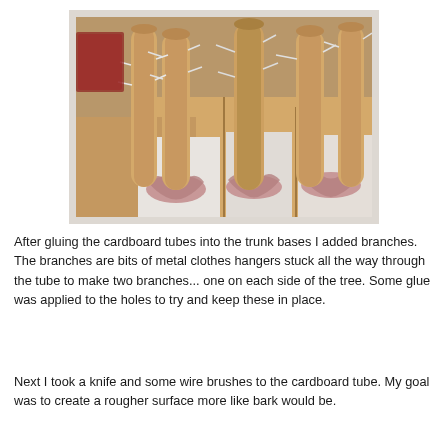[Figure (photo): Photo of several cardboard tubes glued into trunk bases (made from pink ruffled paper/fabric) sitting in cardboard boxes. Metal clothes hanger wires are threaded through the tubes to form branches sticking out on either side, resembling bare tree trunks.]
After gluing the cardboard tubes into the trunk bases I added branches.  The branches are bits of metal clothes hangers stuck all the way through the tube to make two branches... one on each side of the tree.  Some glue was applied to the holes to try and keep these in place.
Next I took a knife and some wire brushes to the cardboard tube.  My goal was to create a rougher surface more like bark would be.